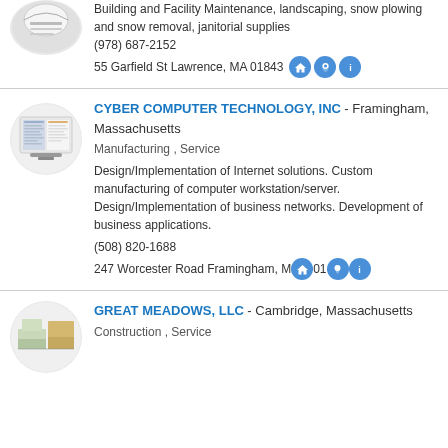Building and Facility Maintenance, landscaping, snow plowing and snow removal, janitorial supplies
(978) 687-2152
55 Garfield St Lawrence, MA 01843
CYBER COMPUTER TECHNOLOGY, INC - Framingham, Massachusetts
Manufacturing , Service
Design/Implementation of Internet solutions. Custom manufacturing of computer workstation/server. Design/Implementation of business networks. Development of business applications.
(508) 820-1688
247 Worcester Road Framingham, MA 01701
GREAT MEADOWS, LLC - Cambridge, Massachusetts
Construction , Service